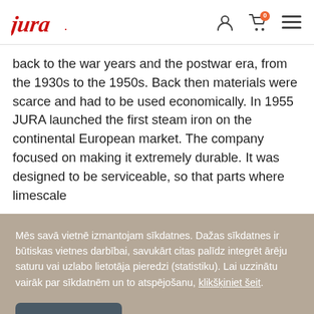jura
back to the war years and the postwar era, from the 1930s to the 1950s. Back then materials were scarce and had to be used economically. In 1955 JURA launched the first steam iron on the continental European market. The company focused on making it extremely durable. It was designed to be serviceable, so that parts where limescale
Mēs savā vietnē izmantojam sīkdatnes. Dažas sīkdatnes ir būtiskas vietnes darbībai, savukārt citas palīdz integrēt ārēju saturu vai uzlabo lietotāja pieredzi (statistiku). Lai uzzinātu vairāk par sīkdatnēm un to atspējošanu, klikšķiniet šeit.
piekrist visām
tikai funkcionālajām sīkdatnēm